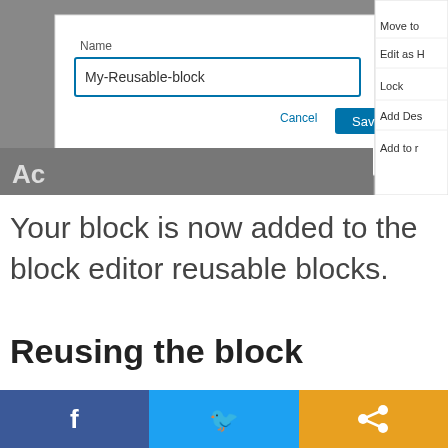[Figure (screenshot): Screenshot of a block editor dialog with a 'Name' label, an input field containing 'My-Reusable-block', Cancel and Save buttons, and a right-side menu showing Move to, Edit as H, Lock, Add Des, Add to r options. Background shows dark gray editor area with 'Ac' text visible.]
Your block is now added to the block editor reusable blocks.
Reusing the block
For reusing the block, go to the
[Figure (infographic): Three social share buttons at the bottom: Facebook (blue), Twitter (light blue), and Share (orange), each with their respective icons.]